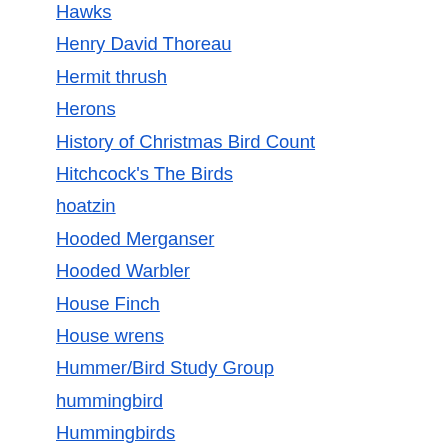Hawks
Henry David Thoreau
Hermit thrush
Herons
History of Christmas Bird Count
Hitchcock's The Birds
hoatzin
Hooded Merganser
Hooded Warbler
House Finch
House wrens
Hummer/Bird Study Group
hummingbird
Hummingbirds
Hungry Mother State Park
Hurricanes and Birds
Ibis
Ibises
Indigo Bunting